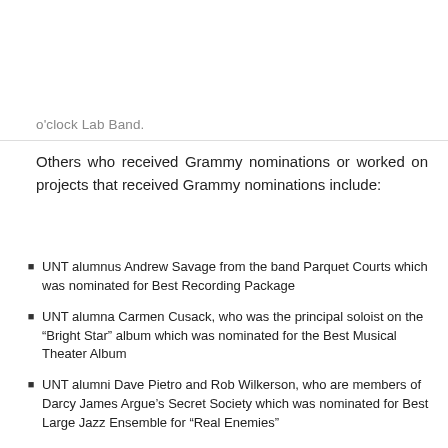o'clock Lab Band.
Others who received Grammy nominations or worked on projects that received Grammy nominations include:
UNT alumnus Andrew Savage from the band Parquet Courts which was nominated for Best Recording Package
UNT alumna Carmen Cusack, who was the principal soloist on the "Bright Star" album which was nominated for the Best Musical Theater Album
UNT alumni Dave Pietro and Rob Wilkerson, who are members of Darcy James Argue's Secret Society which was nominated for Best Large Jazz Ensemble for "Real Enemies"
UNT alumni James Blackwell and Chad Willis, who performed